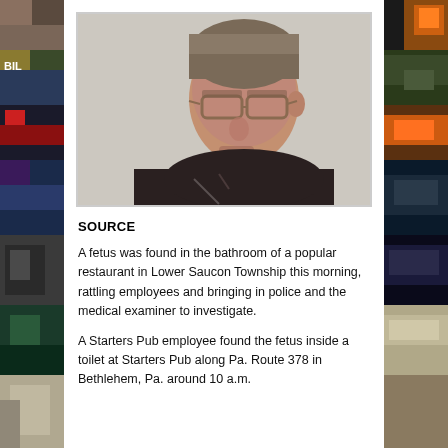[Figure (photo): Close-up photo of a middle-aged man with glasses and gray-brown hair, wearing a dark jacket, photographed against a light wall.]
SOURCE
A fetus was found in the bathroom of a popular restaurant in Lower Saucon Township this morning, rattling employees and bringing in police and the medical examiner to investigate.
A Starters Pub employee found the fetus inside a toilet at Starters Pub along Pa. Route 378 in Bethlehem, Pa. around 10 a.m.